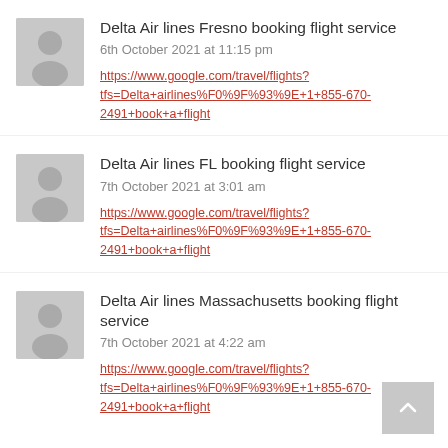Delta Air lines Fresno booking flight service
6th October 2021 at 11:15 pm
https://www.google.com/travel/flights?tfs=Delta+airlines%F0%9F%93%9E+1+855-670-2491+book+a+flight
Delta Air lines FL booking flight service
7th October 2021 at 3:01 am
https://www.google.com/travel/flights?tfs=Delta+airlines%F0%9F%93%9E+1+855-670-2491+book+a+flight
Delta Air lines Massachusetts booking flight service
7th October 2021 at 4:22 am
https://www.google.com/travel/flights?tfs=Delta+airlines%F0%9F%93%9E+1+855-670-2491+book+a+flight